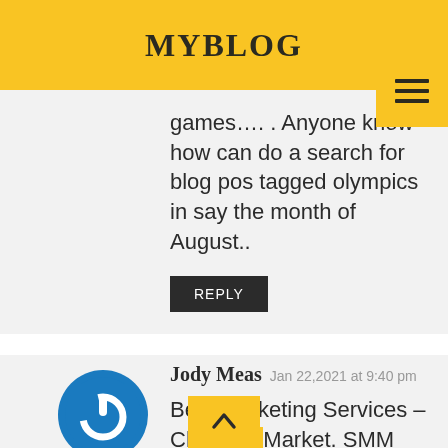MYBLOG
games…. . Anyone know how can do a search for blog pos tagged olympics in say the month of August..
REPLY
Jody Meas  Jan 22,2021 at 9:40 pm
Best Marketing Services – Cheap n Market. SMM Supre the Top 5 Best Social Media Website in the